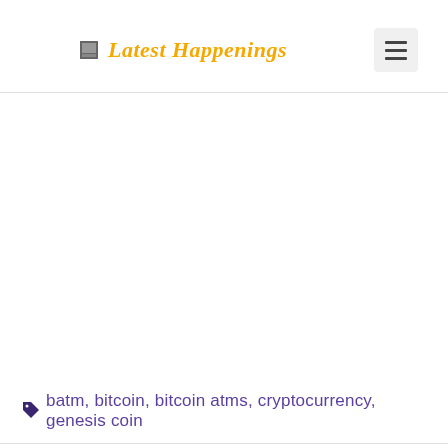Latest Happenings
batm, bitcoin, bitcoin atms, cryptocurrency, genesis coin